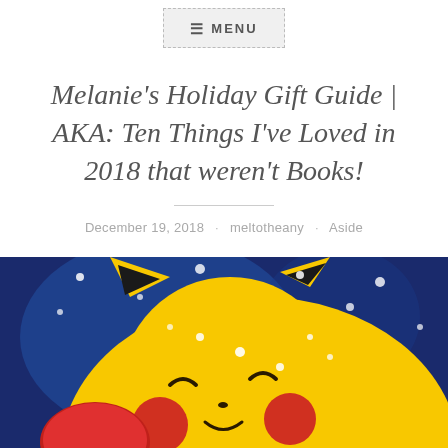≡ MENU
Melanie's Holiday Gift Guide | AKA: Ten Things I've Loved in 2018 that weren't Books!
December 19, 2018 · meltotheany · Aside
[Figure (illustration): Illustration of Pikachu with red cheeks, eyes closed, against a dark blue background with white sparkle dots, holding a red object.]